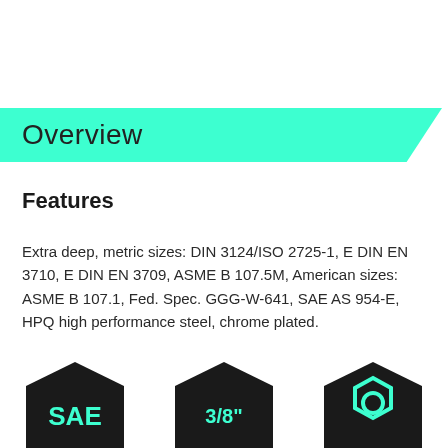Overview
Features
Extra deep, metric sizes: DIN 3124/ISO 2725-1, E DIN EN 3710, E DIN EN 3709, ASME B 107.5M, American sizes: ASME B 107.1, Fed. Spec. GGG-W-641, SAE AS 954-E, HPQ high performance steel, chrome plated.
[Figure (infographic): Three black hexagonal badge icons at the bottom: left shows 'SAE' text in teal, center shows '3/8"' text in teal, right shows a hexagonal socket shape outline in teal.]